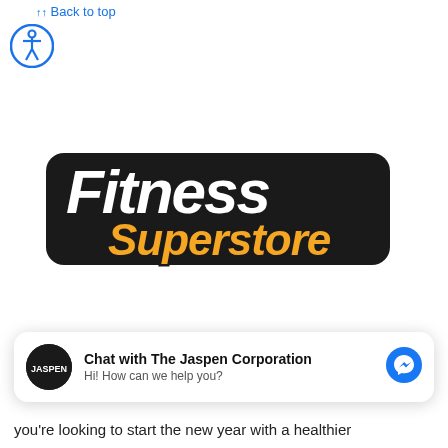Back to top
[Figure (logo): Accessibility icon — blue circle with white person figure in center]
[Figure (logo): Fitness Superstore logo — stylized italic text with 'Fitness' in white/black and 'Superstore' in orange/black]
Chat with The Jaspen Corporation
Hi! How can we help you?
you're looking to start the new year with a healthier